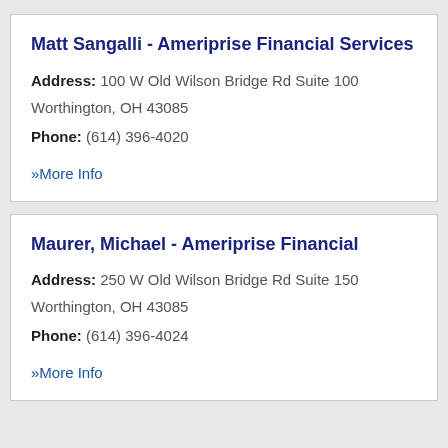Matt Sangalli - Ameriprise Financial Services
Address: 100 W Old Wilson Bridge Rd Suite 100
Worthington, OH 43085
Phone: (614) 396-4020
» More Info
Maurer, Michael - Ameriprise Financial
Address: 250 W Old Wilson Bridge Rd Suite 150
Worthington, OH 43085
Phone: (614) 396-4024
» More Info